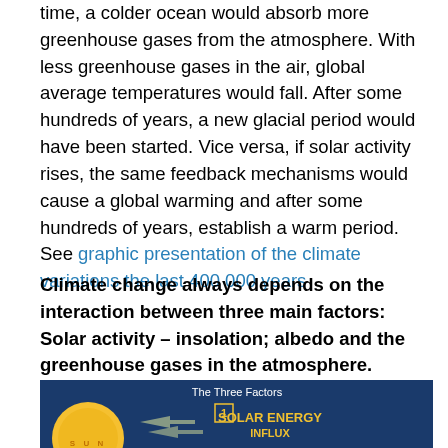time, a colder ocean would absorb more greenhouse gases from the atmosphere. With less greenhouse gases in the air, global average temperatures would fall. After some hundreds of years, a new glacial period would have been started. Vice versa, if solar activity rises, the same feedback mechanisms would cause a global warming and after some hundreds of years, establish a warm period. See graphic presentation of the climate variations the last 400 000 years
Climate change always depends on the interaction between three main factors: Solar activity – insolation; albedo and the greenhouse gases in the atmosphere.
[Figure (infographic): Infographic titled 'The Three Factors' on a dark blue background showing the Sun on the left with label 'S U N', arrows pointing right, and a numbered box with '1' and text 'SOLAR ENERGY INFLUX' in yellow on the right side.]